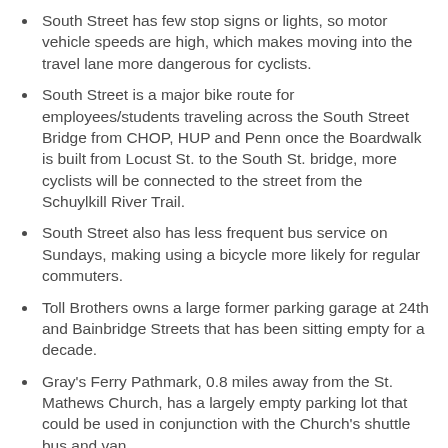South Street has few stop signs or lights, so motor vehicle speeds are high, which makes moving into the travel lane more dangerous for cyclists.
South Street is a major bike route for employees/students traveling across the South Street Bridge from CHOP, HUP and Penn once the Boardwalk is built from Locust St. to the South St. bridge, more cyclists will be connected to the street from the Schuylkill River Trail.
South Street also has less frequent bus service on Sundays, making using a bicycle more likely for regular commuters.
Toll Brothers owns a large former parking garage at 24th and Bainbridge Streets that has been sitting empty for a decade.
Gray's Ferry Pathmark, 0.8 miles away from the St. Mathews Church, has a largely empty parking lot that could be used in conjunction with the Church's shuttle bus and van.